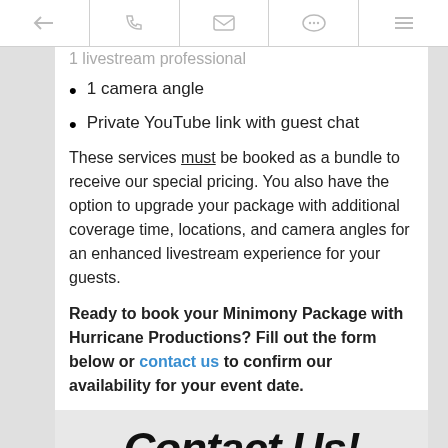← [phone] [email] [chat] [menu]
1 livestream professional
1 camera angle
Private YouTube link with guest chat
These services must be booked as a bundle to receive our special pricing. You also have the option to upgrade your package with additional coverage time, locations, and camera angles for an enhanced livestream experience for your guests.
Ready to book your Minimony Package with Hurricane Productions? Fill out the form below or contact us to confirm our availability for your event date.
Contact Us!
If you would like to receive booking